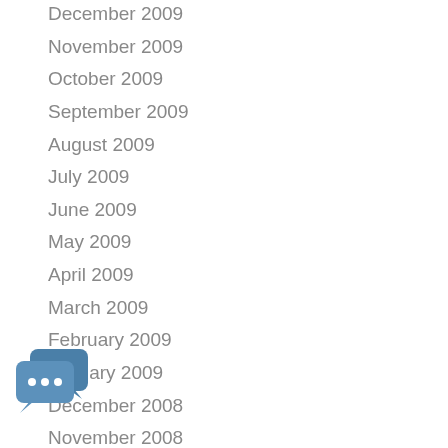December 2009
November 2009
October 2009
September 2009
August 2009
July 2009
June 2009
May 2009
April 2009
March 2009
February 2009
January 2009
December 2008
November 2008
October 2008
[Figure (illustration): Chat bubble icon with three dots indicating typing/loading]